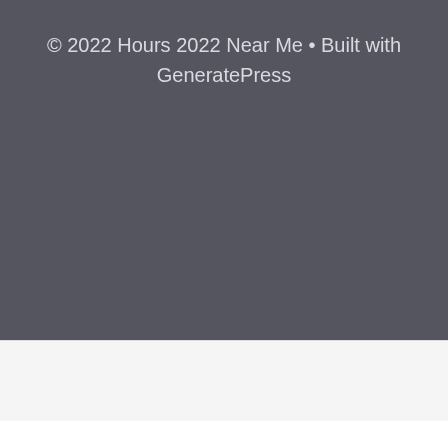© 2022 Hours 2022 Near Me • Built with GeneratePress